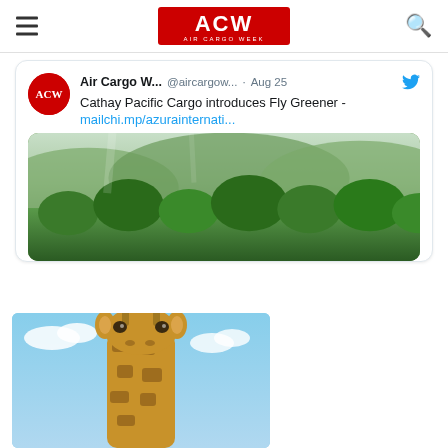ACW Air Cargo Week
Air Cargo W... @aircargow... · Aug 25
Cathay Pacific Cargo introduces Fly Greener -
mailchi.mp/azurainternati…
[Figure (photo): Aerial view of lush green forest with hills in the background and misty sky]
[Figure (photo): Close-up of a giraffe head against a blue sky with clouds]